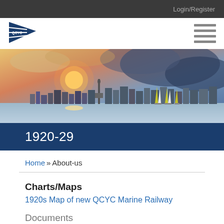Login/Register
[Figure (logo): QCYC pennant flag logo in navy blue with white text]
[Figure (photo): Toronto city skyline at sunset with sailboats on the water, dramatic sky with clouds and sun setting in the background]
1920-29
Home » About-us
Charts/Maps
1920s Map of new QCYC Marine Railway
Documents